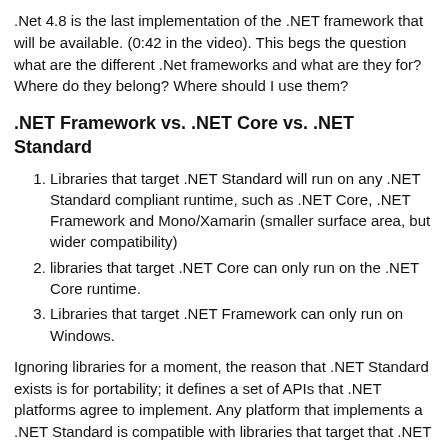.Net 4.8 is the last implementation of the .NET framework that will be available. (0:42 in the video). This begs the question what are the different .Net frameworks and what are they for? Where do they belong? Where should I use them?
.NET Framework vs. .NET Core vs. .NET Standard
Libraries that target .NET Standard will run on any .NET Standard compliant runtime, such as .NET Core, .NET Framework and Mono/Xamarin (smaller surface area, but wider compatibility)
libraries that target .NET Core can only run on the .NET Core runtime.
Libraries that target .NET Framework can only run on Windows.
Ignoring libraries for a moment, the reason that .NET Standard exists is for portability; it defines a set of APIs that .NET platforms agree to implement. Any platform that implements a .NET Standard is compatible with libraries that target that .NET Standard. One of those compatible platforms is .NET Core